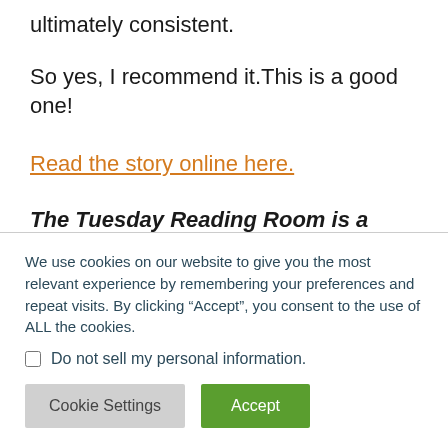ultimately consistent.
So yes, I recommend it.This is a good one!
Read the story online here.
The Tuesday Reading Room is a regular
We use cookies on our website to give you the most relevant experience by remembering your preferences and repeat visits. By clicking “Accept”, you consent to the use of ALL the cookies.
Do not sell my personal information.
Cookie Settings
Accept